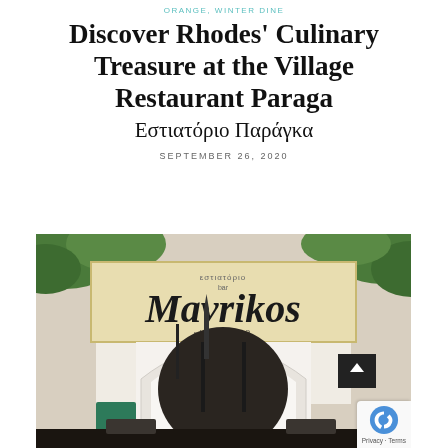ORANGE, WINTER DINE
Discover Rhodes' Culinary Treasure at the Village Restaurant Paraga Εστιατόριο Παράγκα
SEPTEMBER 26, 2020
[Figure (photo): Exterior photograph of Mavrikos restaurant in Rhodes, showing a large sign reading 'Mavrikos since 1933' above a white arched entrance, surrounded by green foliage. Iron decorative elements and a small chalkboard sign are visible at the archway entrance.]